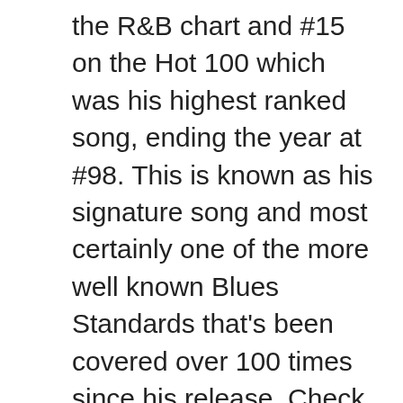the R&B chart and #15 on the Hot 100 which was his highest ranked song, ending the year at #98. This is known as his signature song and most certainly one of the more well known Blues Standards that's been covered over 100 times since his release. Check out my post on Rock Artists Sing the Blues.
Folk Rock
This Genre is a product of the 1960's and I have covered it as The Greatest Folk Rock Song, Folk Rock and Folk Rock II. However it had a significant impact on